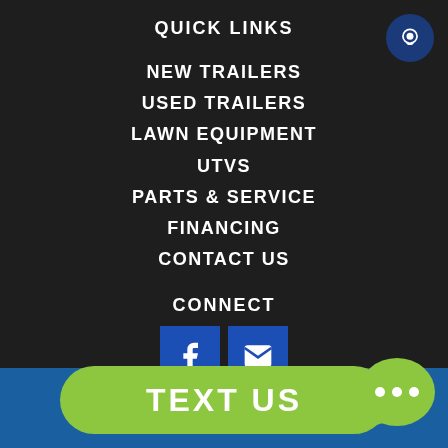QUICK LINKS
NEW TRAILERS
USED TRAILERS
LAWN EQUIPMENT
UTVS
PARTS & SERVICE
FINANCING
CONTACT US
CONNECT
[Figure (logo): TrailerCentral.com logo with globe/download icon and red and white text]
TEXT US